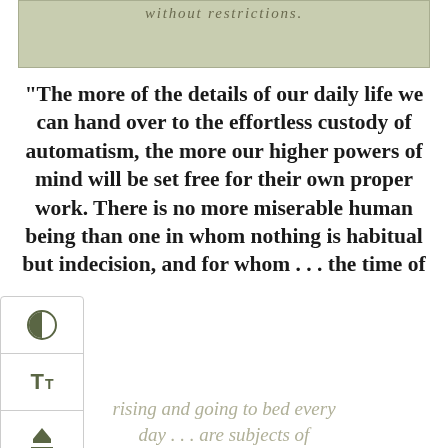without restrictions.
“The more of the details of our daily life we can hand over to the effortless custody of automatism, the more our higher powers of mind will be set free for their own proper work. There is no more miserable human being than one in whom nothing is habitual but indecision, and for whom . . . the time of
rising and going to bed every day . . . are subjects of